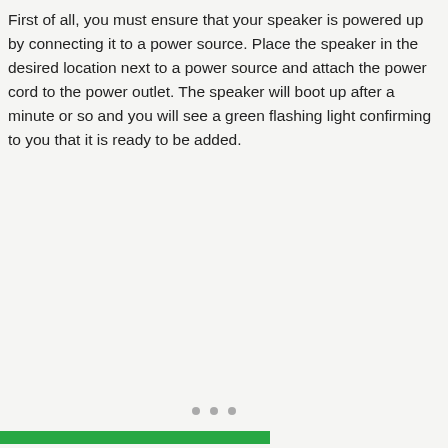First of all, you must ensure that your speaker is powered up by connecting it to a power source. Place the speaker in the desired location next to a power source and attach the power cord to the power outlet. The speaker will boot up after a minute or so and you will see a green flashing light confirming to you that it is ready to be added.
[Figure (other): Three small grey dots (pagination or loading indicator) in the lower middle area of the page, and a green horizontal bar at the very bottom left.]